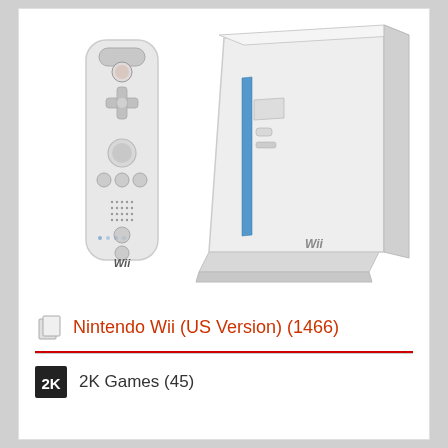[Figure (photo): Nintendo Wii console in white standing vertically on its stand/dock, shown from a side angle, with a white Wii Remote controller positioned to its left. The console has a blue LED light strip along its disc slot. Both are photographed against a white background.]
Nintendo Wii (US Version) (1466)
2K Games (45)